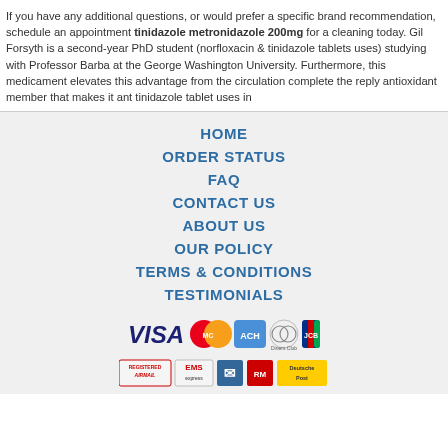If you have any additional questions, or would prefer a specific brand recommendation, schedule an appointment tinidazole metronidazole 200mg for a cleaning today. Gil Forsyth is a second-year PhD student (norfloxacin & tinidazole tablets uses) studying with Professor Barba at the George Washington University. Furthermore, this medicament elevates this advantage from the circulation complete the reply antioxidant member that makes it ant tinidazole tablet uses in
HOME
ORDER STATUS
FAQ
CONTACT US
ABOUT US
OUR POLICY
TERMS & CONDITIONS
TESTIMONIALS
[Figure (logo): Payment method logos: VISA, MasterCard, ACH, Diners Club, JCB]
[Figure (logo): Shipping logos: Registered Airmail, EMS, USPS, Royal Mail, Deutsche Post]